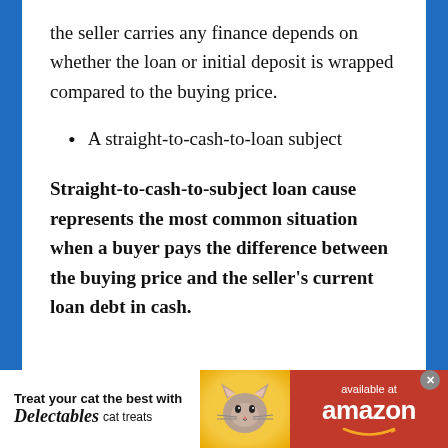the seller carries any finance depends on whether the loan or initial deposit is wrapped compared to the buying price.
A straight-to-cash-to-loan subject
Straight-to-cash-to-subject loan cause represents the most common situation when a buyer pays the difference between the buying price and the seller's current loan debt in cash.
[Figure (other): Advertisement banner: Treat your cat the best with Delectables cat treats, available at amazon. Features a cat image on a yellow circle background and red Amazon section.]